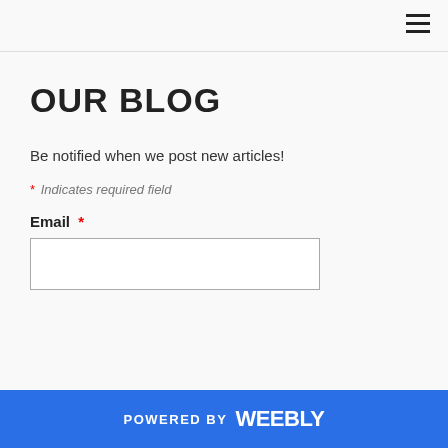≡
OUR BLOG
Be notified when we post new articles!
* Indicates required field
Email *
POWERED BY weebly